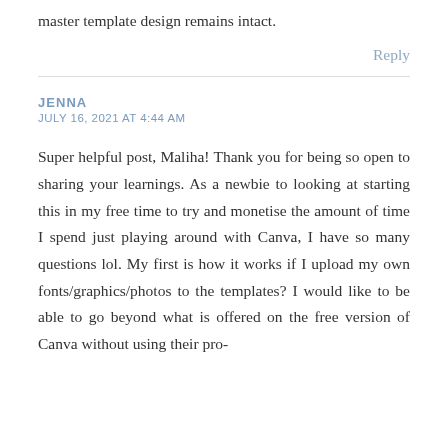master template design remains intact.
Reply
JENNA
JULY 16, 2021 AT 4:44 AM
Super helpful post, Maliha! Thank you for being so open to sharing your learnings. As a newbie to looking at starting this in my free time to try and monetise the amount of time I spend just playing around with Canva, I have so many questions lol. My first is how it works if I upload my own fonts/graphics/photos to the templates? I would like to be able to go beyond what is offered on the free version of Canva without using their pro-